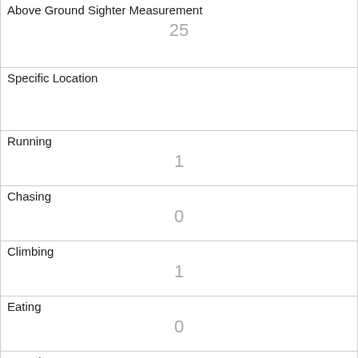| Above Ground Sighter Measurement | 25 |
| Specific Location |  |
| Running | 1 |
| Chasing | 0 |
| Climbing | 1 |
| Eating | 0 |
| Foraging | 0 |
| Other Activities |  |
| Kuks | 0 |
| Quaas | 0 |
| Moans |  |